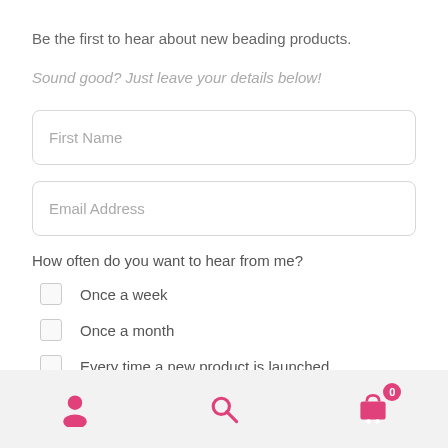Be the first to hear about new beading products.
Sound good? Just leave your details below!
First Name
Email Address
How often do you want to hear from me?
Once a week
Once a month
Every time a new product is launched
[Figure (infographic): Bottom navigation bar with user icon, search icon, and shopping cart icon with badge showing 0]